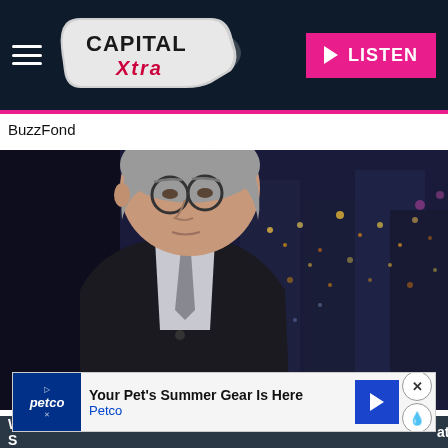[Figure (screenshot): Capital Xtra website header with hamburger menu, Capital Xtra logo, and pink LISTEN button on dark navy background]
BuzzFond
[Figure (photo): Older man with grey hair and round glasses wearing a dark suit and grey tie, speaking on a TV news program with city skyline at night in background]
Your Pet's Summer Gear Is Here Petco
Wall S... ate